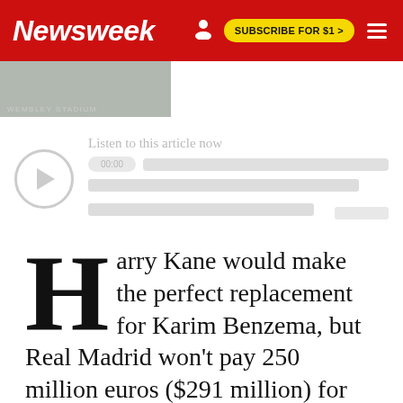Newsweek | SUBSCRIBE FOR $1 >
[Figure (photo): Partial image strip below the header, showing a cropped photo with some text overlay.]
[Figure (other): A blurred/paywall overlay section with a play button circle icon and blurred text lines suggesting a video or gated content prompt: 'Listen to this article now'.]
Harry Kane would make the perfect replacement for Karim Benzema, but Real Madrid won't pay 250 million euros ($291 million) for him, says former club president Ramon Calderon.